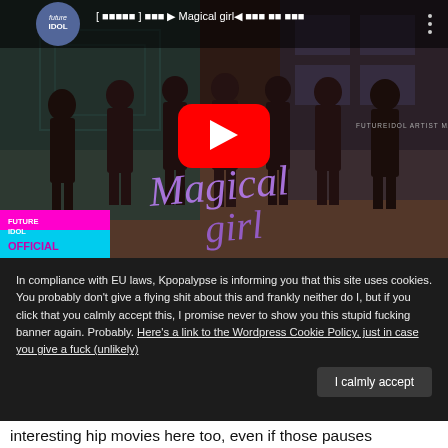[Figure (screenshot): YouTube video thumbnail showing a K-pop group 'Magical Girl' from Future Idol, with red play button overlay. Title text in Korean and English '[FutureIdol] Magical girl'. Several young women in dark outfits standing in a studio. 'FUTURE IDOL OFFICIAL' branding in bottom left.]
In compliance with EU laws, Kpopalypse is informing you that this site uses cookies. You probably don't give a flying shit about this and frankly neither do I, but if you click that you calmly accept this, I promise never to show you this stupid fucking banner again. Probably. Here's a link to the Wordpress Cookie Policy, just in case you give a fuck (unlikely)
I calmly accept
interesting hip movies here too, even if those pauses